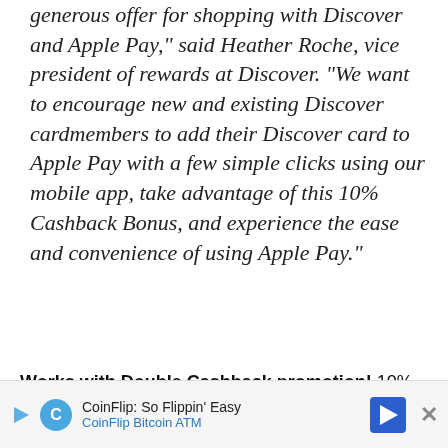generous offer for shopping with Discover and Apple Pay," said Heather Roche, vice president of rewards at Discover. "We want to encourage new and existing Discover cardmembers to add their Discover card to Apple Pay with a few simple clicks using our mobile app, take advantage of this 10% Cashback Bonus, and experience the ease and convenience of using Apple Pay."
Works with Double Cashback promotion! 10% of $10,000 of purchases is $1,000. But it gets even better for those already people signed up for Double Cashback in 2015, because Discover has confirmed m... and it wi... $10,000...
[Figure (other): CoinFlip Bitcoin ATM advertisement banner with play button icon, CoinFlip logo, text 'CoinFlip: So Flippin' Easy' and 'CoinFlip Bitcoin ATM', a blue navigation arrow icon, and a close (X) button.]